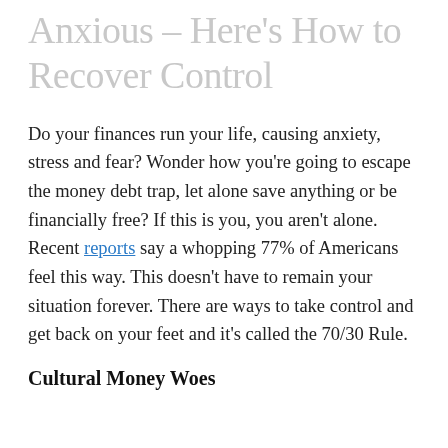Anxious – Here's How to Recover Control
Do your finances run your life, causing anxiety, stress and fear? Wonder how you're going to escape the money debt trap, let alone save anything or be financially free? If this is you, you aren't alone. Recent reports say a whopping 77% of Americans feel this way. This doesn't have to remain your situation forever. There are ways to take control and get back on your feet and it's called the 70/30 Rule.
Cultural Money Woes